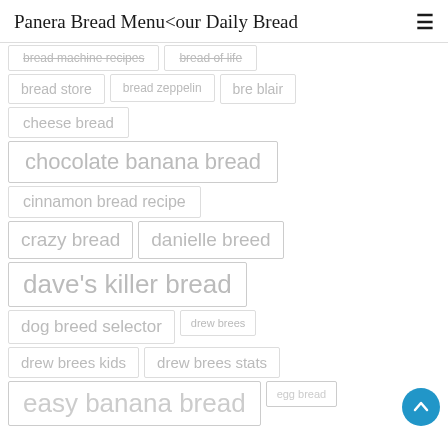Panera Bread Menu<our Daily Bread
bread machine recipes
bread of life
bread store
bread zeppelin
bre blair
cheese bread
chocolate banana bread
cinnamon bread recipe
crazy bread
danielle breed
dave's killer bread
dog breed selector
drew brees
drew brees kids
drew brees stats
easy banana bread
egg bread